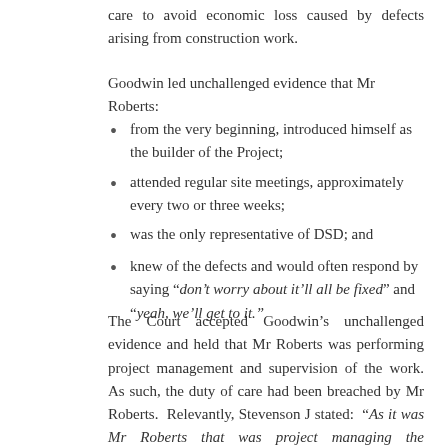care to avoid economic loss caused by defects arising from construction work.
Goodwin led unchallenged evidence that Mr Roberts:
from the very beginning, introduced himself as the builder of the Project;
attended regular site meetings, approximately every two or three weeks;
was the only representative of DSD; and
knew of the defects and would often respond by saying “don’t worry about it’ll all be fixed” and “yeah, we’ll get to it.”
The Court accepted Goodwin’s unchallenged evidence and held that Mr Roberts was performing project management and supervision of the work. As such, the duty of care had been breached by Mr Roberts. Relevantly, Stevenson J stated: “As it was Mr Roberts that was project managing the construction on